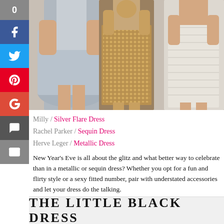[Figure (photo): Three women wearing metallic/sequin party dresses: silver flare dress on left, gold sequin dress in center, white metallic bandage dress on right]
Milly / Silver Flare Dress
Rachel Roy / Sequin Dress
Herve Leger / Metallic Dress
New Year's Eve is all about the glitz and what better way to celebrate than in a metallic or sequin dress? Whether you opt for a fun and flirty style or a sexy fitted number, pair with understated accessories and let your dress do the talking.
THE LITTLE BLACK DRESS